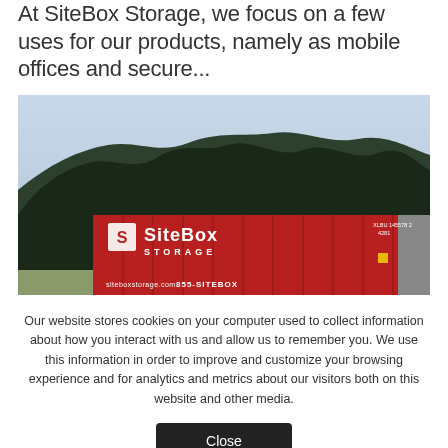At SiteBox Storage, we focus on a few uses for our products, namely as mobile offices and secure...
[Figure (photo): Outdoor photo of a red SiteBox Storage shipping container with trees in the background. The container shows the SiteBox Storage logo and phone number 855-SITEBOX.]
Our website stores cookies on your computer used to collect information about how you interact with us and allow us to remember you. We use this information in order to improve and customize your browsing experience and for analytics and metrics about our visitors both on this website and other media.
Close